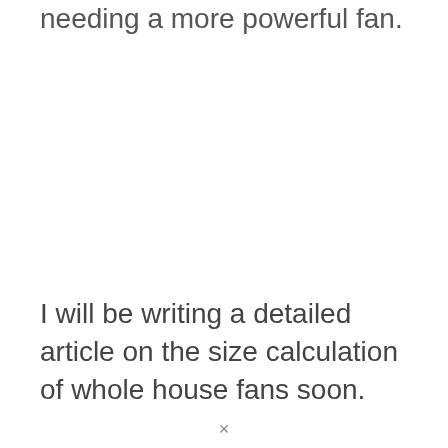needing a more powerful fan.
I will be writing a detailed article on the size calculation of whole house fans soon.
×